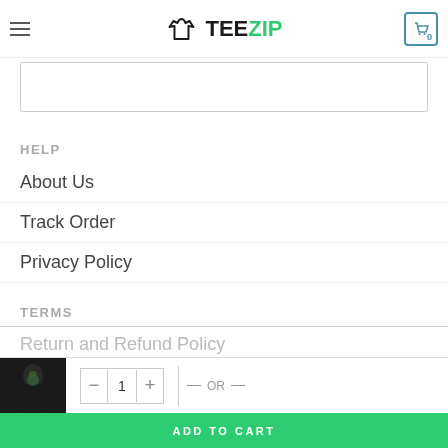TEEZIP
Manual measurement, please allow 1cm – 2cm error.
HELP
About Us
Track Order
Privacy Policy
TERMS
Return and Refund Policy
Shipping Details
ADD TO CART